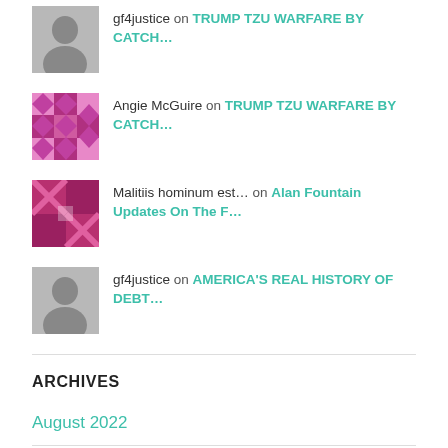gf4justice on TRUMP TZU WARFARE BY CATCH…
Angie McGuire on TRUMP TZU WARFARE BY CATCH…
Malitiis hominum est… on Alan Fountain Updates On The F…
gf4justice on AMERICA'S REAL HISTORY OF DEBT…
ARCHIVES
August 2022
July 2022